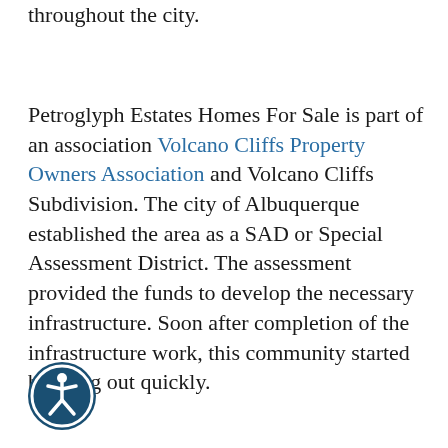throughout the city.
Petroglyph Estates Homes For Sale is part of an association Volcano Cliffs Property Owners Association and Volcano Cliffs Subdivision. The city of Albuquerque established the area as a SAD or Special Assessment District. The assessment provided the funds to develop the necessary infrastructure. Soon after completion of the infrastructure work, this community started building out quickly.
[Figure (logo): Accessibility icon: dark blue circle with white human figure (arms and legs outstretched) symbol inside]